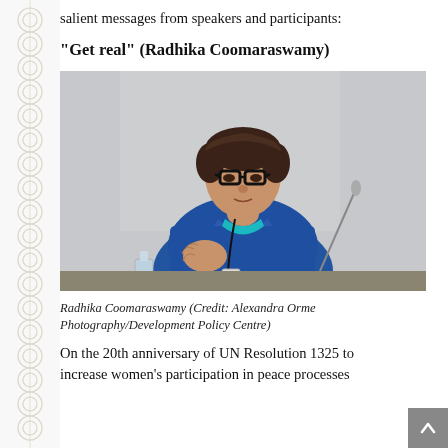salient messages from speakers and participants:
“Get real” (Radhika Coomaraswamy)
[Figure (photo): Radhika Coomaraswamy speaking at a conference, wearing a blue jacket and black-framed glasses, gesturing with her right hand, with a microphone and projection screen visible in the background.]
Radhika Coomaraswamy (Credit: Alexandra Orme Photography/Development Policy Centre)
On the 20th anniversary of UN Resolution 1325 to increase women’s participation in peace processes